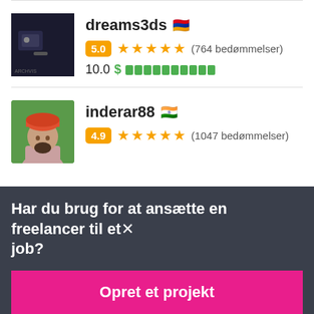[Figure (screenshot): User profile card for 'dreams3ds' with Armenian flag, 5.0 rating badge, 5 orange stars, (764 bedømmelser), rate 10.0 $ with green bars]
[Figure (screenshot): User profile card for 'inderar88' with Indian flag, 4.9 rating badge, 5 orange stars, (1047 bedømmelser)]
Har du brug for at ansætte en freelancer til et job?
Opret et projekt